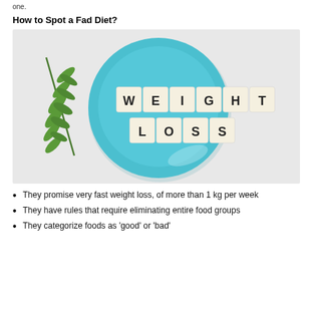one.
How to Spot a Fad Diet?
[Figure (photo): A blue plate on a white background with scrabble tiles spelling WEIGHT LOSS on the plate, and a green fern leaf on the left side.]
They promise very fast weight loss, of more than 1 kg per week
They have rules that require eliminating entire food groups
They categorize foods as 'good' or 'bad'